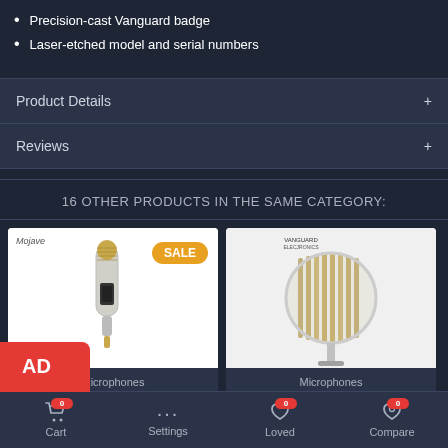Precision-cast Vanguard badge
Laser-etched model and serial numbers
Product Details
Reviews
16 OTHER PRODUCTS IN THE SAME CATEGORY:
[Figure (photo): Mojave Audio microphone with SALE badge]
Microphones
MOJAVE AUDIO MA-201FETVG
[Figure (photo): Vanguard V34C Lolli microphone]
Microphones
VANGUARD V34C LOLLI
Cart 0  Settings  Loved 0  Compare 0